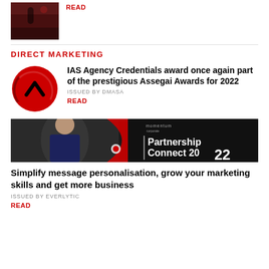[Figure (photo): Small thumbnail image of a dark reddish artwork/photography collection]
READ
DIRECT MARKETING
[Figure (logo): IAS Agency red circular logo with upward chevron arrow]
IAS Agency Credentials award once again part of the prestigious Assegai Awards for 2022
ISSUED BY DMASA
READ
[Figure (photo): Banner advertisement for Momentum Corporate Partnership Connect 2022, featuring a smiling woman]
Simplify message personalisation, grow your marketing skills and get more business
ISSUED BY EVERLYTIC
READ